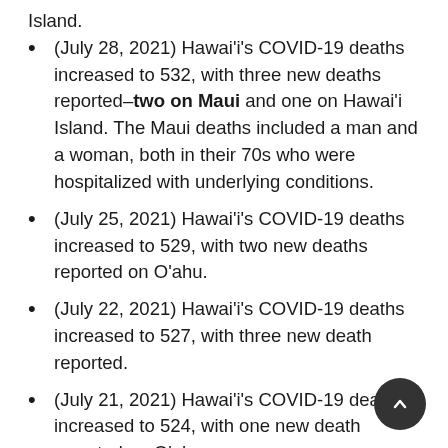Island.
(July 28, 2021) Hawai'i's COVID-19 deaths increased to 532, with three new deaths reported–two on Maui and one on Hawai'i Island. The Maui deaths included a man and a woman, both in their 70s who were hospitalized with underlying conditions.
(July 25, 2021) Hawai'i's COVID-19 deaths increased to 529, with two new deaths reported on O'ahu.
(July 22, 2021) Hawai'i's COVID-19 deaths increased to 527, with three new death reported.
(July 21, 2021) Hawai'i's COVID-19 deaths increased to 524, with one new death reported on O'ahu.